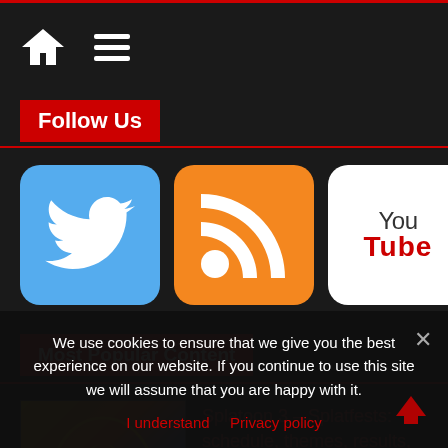Navigation bar with home and menu icons
Follow Us
[Figure (illustration): Three social media icons: Twitter (blue bird), RSS feed (orange), YouTube (white with red You Tube logo)]
Most Popular Content
[Figure (photo): Splatoon 3 game artwork thumbnail]
Splatoon 3 – Splatfests: schedule, themes, results, and other details
We use cookies to ensure that we give you the best experience on our website. If you continue to use this site we will assume that you are happy with it.
I understand   Privacy policy